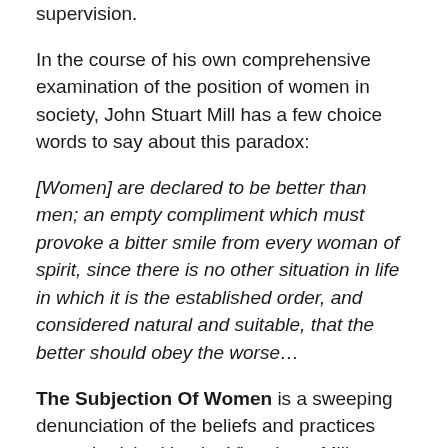supervision.
In the course of his own comprehensive examination of the position of women in society, John Stuart Mill has a few choice words to say about this paradox:
[Women] are declared to be better than men; an empty compliment which must provoke a bitter smile from every woman of spirit, since there is no other situation in life in which it is the established order, and considered natural and suitable, that the better should obey the worse…
The Subjection Of Women is a sweeping denunciation of the beliefs and practices most cherished by the Victorians. Mill attacks on every front: the law, education, home life, religion, finance, social theory; everything that contributed to a power imbalance between the sexes that, he contends, was not only unjust and brutalising in itself —